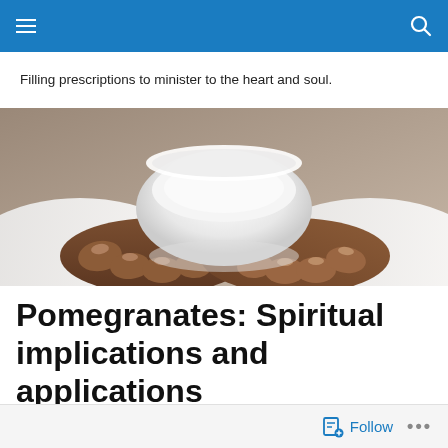Navigation bar with hamburger menu and search icon
Filling prescriptions to minister to the heart and soul.
[Figure (photo): Close-up photograph of a person's hands holding a white mortar bowl, wearing a white coat, suggesting a pharmacist or medical professional.]
Pomegranates: Spiritual implications and applications
Follow ...